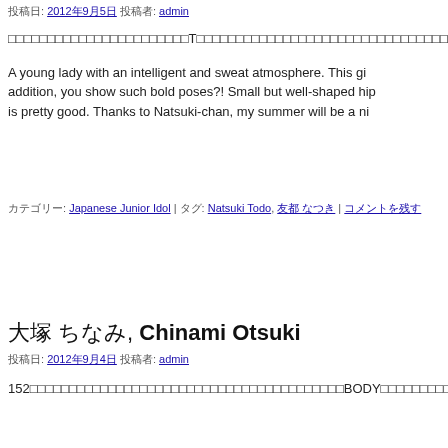投稿日: 2012年9月5日 投稿者: admin
□□□□□□□□□□□□□□□□□□□□□□□T□□□□□□□□□□□□□□□□□□□□□□□□□□□□□□□□□□□□□□□□□□□□□□□□□□□□□□□□□□□
A young lady with an intelligent and sweat atmosphere. This gi... addition, you show such bold poses?! Small but well-shaped hip... is pretty good. Thanks to Natsuki-chan, my summer will be a ni...
カテゴリー: Japanese Junior Idol | タグ: Natsuki Todo, 友都 なつき | コメントを残す
大塚 ちなみ, Chinami Otsuki
投稿日: 2012年9月4日 投稿者: admin
152□□□□□□□□□□□□□□□□□□□□□□□□□□□□□□□□□□□□□□□□BODY□□□□□□□□□□□□□□□□□□□□□□□□□□□